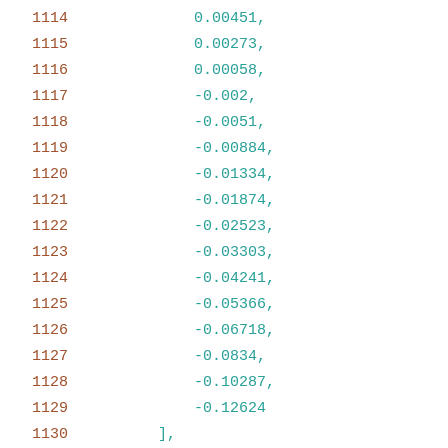1114    0.00451,
1115    0.00273,
1116    0.00058,
1117    -0.002,
1118    -0.0051,
1119    -0.00884,
1120    -0.01334,
1121    -0.01874,
1122    -0.02523,
1123    -0.03303,
1124    -0.04241,
1125    -0.05366,
1126    -0.06718,
1127    -0.0834,
1128    -0.10287,
1129    -0.12624
1130    ],
1131    [
1132        0.01313,
1133        0.00591,
1134        0.00443,